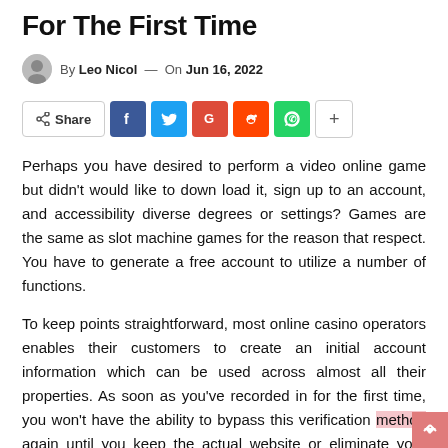For The First Time
By Leo Nicol — On Jun 16, 2022
[Figure (infographic): Social share bar with Share button, Facebook (f), Twitter (bird), Google (G), Reddit, WhatsApp, and more (+) buttons]
Perhaps you have desired to perform a video online game but didn't would like to down load it, sign up to an account, and accessibility diverse degrees or settings? Games are the same as slot machine games for the reason that respect. You have to generate a free account to utilize a number of functions.
To keep points straightforward, most online casino operators enables their customers to create an initial account information which can be used across almost all their properties. As soon as you've recorded in for the first time, you won't have the ability to bypass this verification method again until you keep the actual website or eliminate your bank